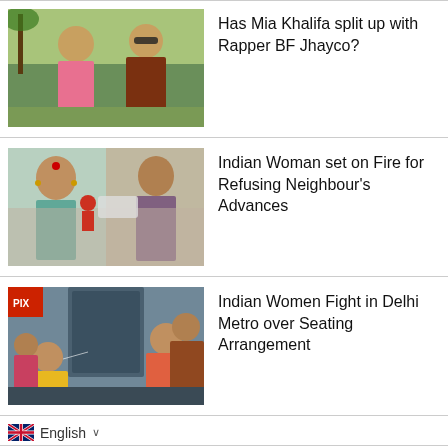[Figure (photo): Photo of Mia Khalifa and Rapper BF Jhayco together outdoors]
Has Mia Khalifa split up with Rapper BF Jhayco?
[Figure (photo): Photo of Indian woman and man side by side]
Indian Woman set on Fire for Refusing Neighbour's Advances
[Figure (photo): Photo of women fighting in Delhi Metro]
Indian Women Fight in Delhi Metro over Seating Arrangement
English
Hackers want Mia Khalifa to be made Egyptian Education Advisor